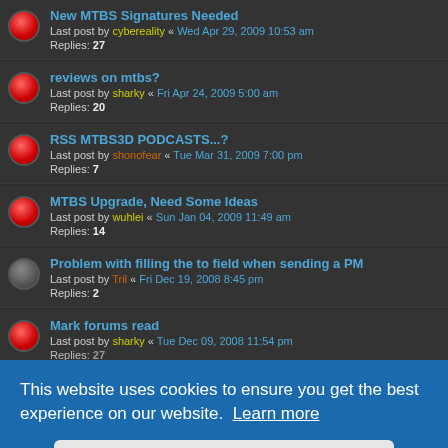New MTBS Signatures Needed
Last post by cybereality « Wed Apr 29, 2009 10:53 am
Replies: 27
reviews on mtbs?
Last post by sharky « Fri Apr 24, 2009 5:00 am
Replies: 20
RSS MTBS3D PODCASTS...?
Last post by shonofear « Tue Mar 31, 2009 7:00 pm
Replies: 7
MTBS Upgrade, Need Some Ideas
Last post by wuhlei « Sun Jan 04, 2009 11:49 am
Replies: 14
Problem with filling the to field when sending a PM
Last post by Tril « Fri Dec 19, 2008 8:45 pm
Replies: 2
Mark forums read
Last post by sharky « Tue Dec 09, 2008 11:54 pm
Replies: 27
This website uses cookies to ensure you get the best experience on our website. Learn more
Got it!